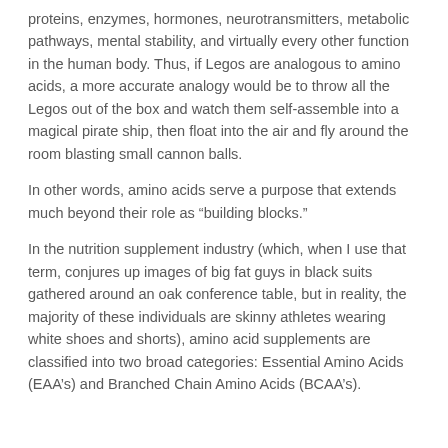proteins, enzymes, hormones, neurotransmitters, metabolic pathways, mental stability, and virtually every other function in the human body. Thus, if Legos are analogous to amino acids, a more accurate analogy would be to throw all the Legos out of the box and watch them self-assemble into a magical pirate ship, then float into the air and fly around the room blasting small cannon balls.
In other words, amino acids serve a purpose that extends much beyond their role as “building blocks.”
In the nutrition supplement industry (which, when I use that term, conjures up images of big fat guys in black suits gathered around an oak conference table, but in reality, the majority of these individuals are skinny athletes wearing white shoes and shorts), amino acid supplements are classified into two broad categories: Essential Amino Acids (EAA’s) and Branched Chain Amino Acids (BCAA’s).